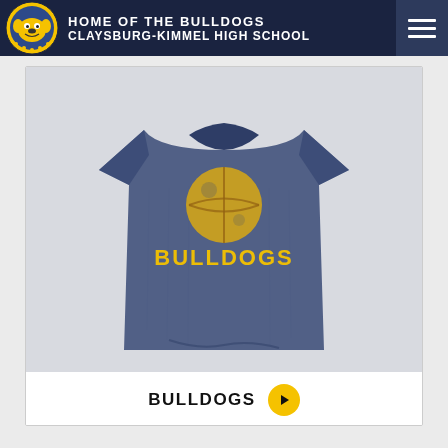HOME OF THE BULLDOGS
CLAYSBURG-KIMMEL HIGH SCHOOL
[Figure (photo): A navy blue heather t-shirt with a distressed basketball graphic and 'BULLDOGS' text printed in gold on the chest, displayed on a white background within a product card.]
BULLDOGS